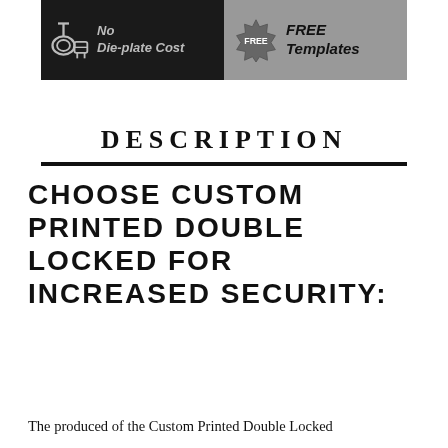[Figure (infographic): Two-panel banner: left dark panel with printer rolls icon and text 'No Die-plate Cost', right grey panel with FREE badge icon and text 'FREE Templates']
DESCRIPTION
CHOOSE CUSTOM PRINTED DOUBLE LOCKED FOR INCREASED SECURITY:
The produced of the Custom Printed Double Locked